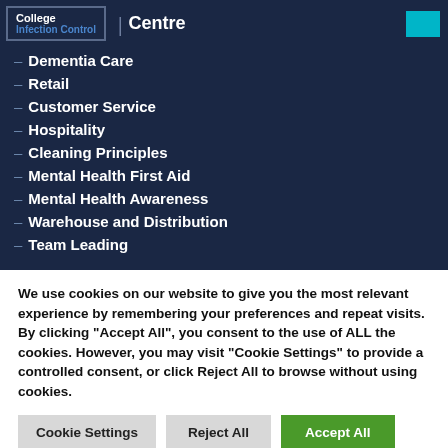College | Centre
– Infection Control
– Dementia Care
– Retail
– Customer Service
– Hospitality
– Cleaning Principles
– Mental Health First Aid
– Mental Health Awareness
– Warehouse and Distribution
– Team Leading
We use cookies on our website to give you the most relevant experience by remembering your preferences and repeat visits. By clicking "Accept All", you consent to the use of ALL the cookies. However, you may visit "Cookie Settings" to provide a controlled consent, or click Reject All to browse without using cookies.
Cookie Settings | Reject All | Accept All